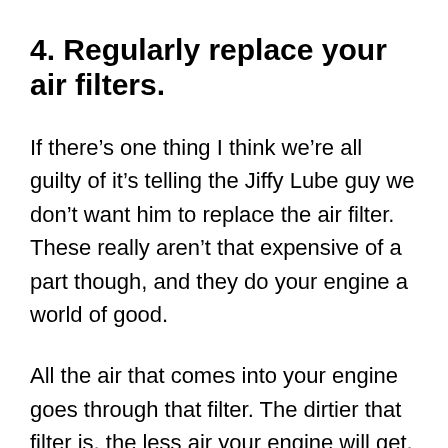4. Regularly replace your air filters.
If there’s one thing I think we’re all guilty of it’s telling the Jiffy Lube guy we don’t want him to replace the air filter. These really aren’t that expensive of a part though, and they do your engine a world of good.
All the air that comes into your engine goes through that filter. The dirtier that filter is, the less air your engine will get, and the poorer it will run. You can actually end up with an air filter fire as well (fire